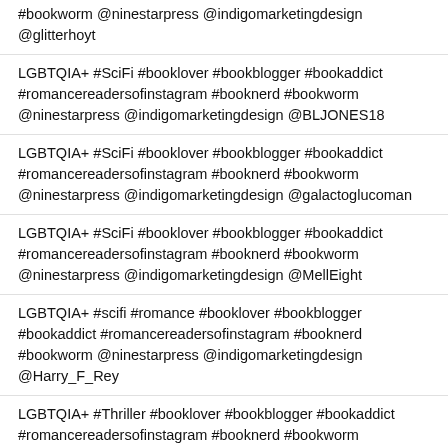#bookworm @ninestarpress @indigomarketingdesign @glitterhoyt
LGBTQIA+ #SciFi #booklover #bookblogger #bookaddict #romancereadersofinstagram #booknerd #bookworm @ninestarpress @indigomarketingdesign @BLJONES18
LGBTQIA+ #SciFi #booklover #bookblogger #bookaddict #romancereadersofinstagram #booknerd #bookworm @ninestarpress @indigomarketingdesign @galactoglucoman
LGBTQIA+ #SciFi #booklover #bookblogger #bookaddict #romancereadersofinstagram #booknerd #bookworm @ninestarpress @indigomarketingdesign @MellEight
LGBTQIA+ #scifi #romance #booklover #bookblogger #bookaddict #romancereadersofinstagram #booknerd #bookworm @ninestarpress @indigomarketingdesign @Harry_F_Rey
LGBTQIA+ #Thriller #booklover #bookblogger #bookaddict #romancereadersofinstagram #booknerd #bookworm @ninestarpress @indigomarketingdesign @CoreyLNiles